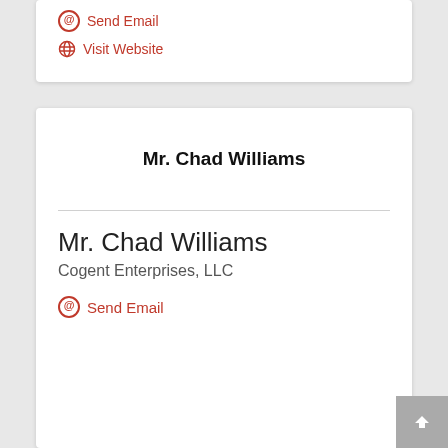Send Email
Visit Website
Mr. Chad Williams
Mr. Chad Williams
Cogent Enterprises, LLC
Send Email